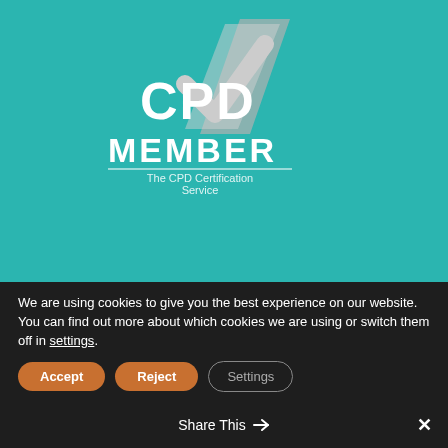[Figure (logo): CPD Member logo with white text on teal background, checkmark graphic. 'The CPD Certification Service' subtitle.]
COURSES
Advanced
Conversion
DipTrans Resitter and Translator CPD Packs
Workshops
We are using cookies to give you the best experience on our website.
You can find out more about which cookies we are using or switch them off in settings.
Share This